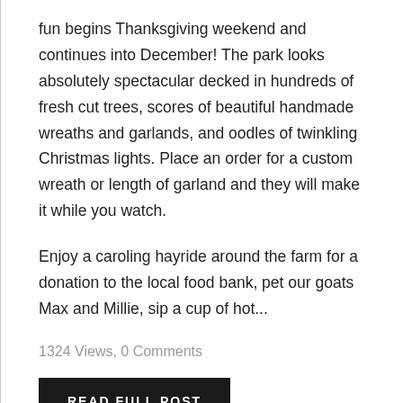fun begins Thanksgiving weekend and continues into December! The park looks absolutely spectacular decked in hundreds of fresh cut trees, scores of beautiful handmade wreaths and garlands, and oodles of twinkling Christmas lights. Place an order for a custom wreath or length of garland and they will make it while you watch.
Enjoy a caroling hayride around the farm for a donation to the local food bank, pet our goats Max and Millie, sip a cup of hot...
1324 Views, 0 Comments
READ FULL POST